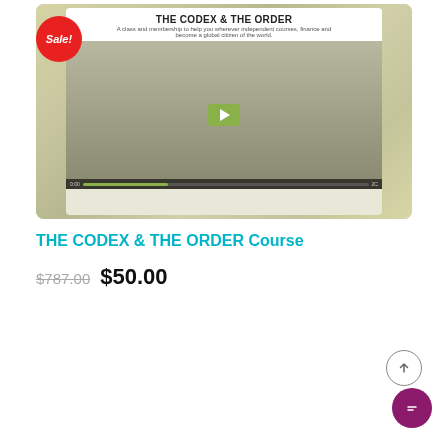[Figure (screenshot): Video thumbnail for 'THE CODEX & THE ORDER' course with a Sale badge and a woman in the video frame with a green play button overlay]
THE CODEX & THE ORDER Course
$787.00  $50.00